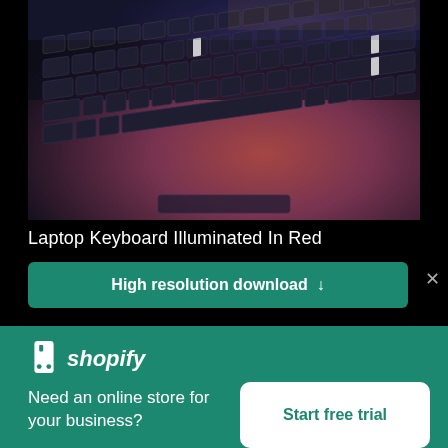[Figure (photo): Close-up photo of a laptop keyboard illuminated in red/pink light, showing MacBook-style keys viewed at an angle against a dark background.]
Laptop Keyboard Illuminated In Red
High resolution download ↓
[Figure (logo): Shopify logo — white shopping bag icon with 'shopify' wordmark in white text]
Need an online store for your business?
Start free trial